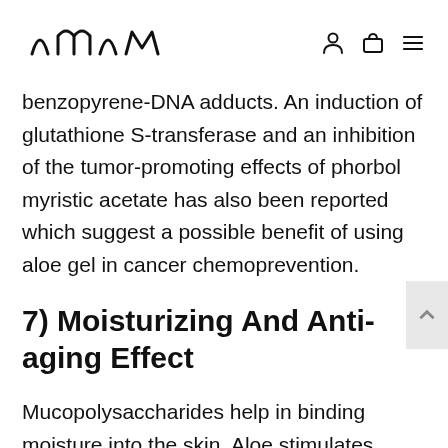naam (logo with icons)
benzopyrene-DNA adducts. An induction of glutathione S-transferase and an inhibition of the tumor-promoting effects of phorbol myristic acetate has also been reported which suggest a possible benefit of using aloe gel in cancer chemoprevention.
7) Moisturizing And Anti-aging Effect
Mucopolysaccharides help in binding moisture into the skin. Aloe stimulates fibroblast which